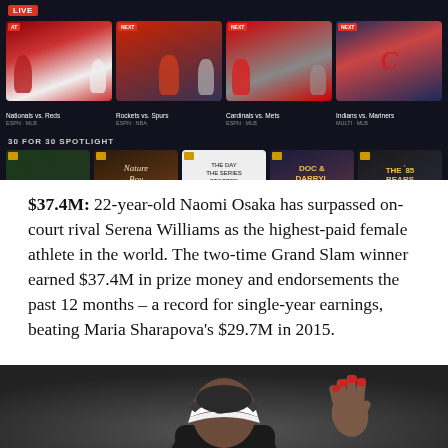[Figure (screenshot): ESPN app screenshot showing LIVE sports games (Nationals vs. Reds, Rockets vs. Spurs, Cardinals vs. Mets, Indians vs. Mariners) and 30 FOR 30 SPOTLIGHT section with documentary thumbnails (Nature Boy, The Day the Series Stopped, Doc & Darryl, The '85 Bears)]
$37.4M: 22-year-old Naomi Osaka has surpassed on-court rival Serena Williams as the highest-paid female athlete in the world. The two-time Grand Slam winner earned $37.4M in prize money and endorsements the past 12 months – a record for single-year earnings, beating Maria Sharapova's $29.7M in 2015.
[Figure (photo): Bottom portion of a photo showing a tennis player (Naomi Osaka) wearing a white Nike visor, with a raised hand showing red fingernails visible on the right side]